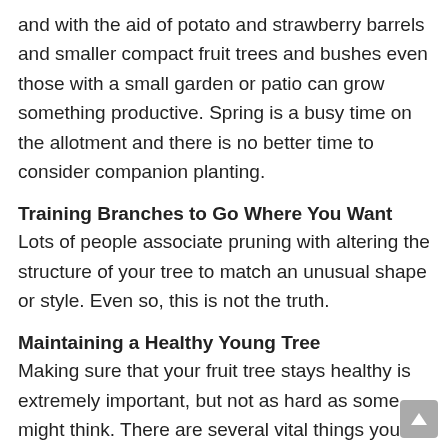and with the aid of potato and strawberry barrels and smaller compact fruit trees and bushes even those with a small garden or patio can grow something productive. Spring is a busy time on the allotment and there is no better time to consider companion planting.
Training Branches to Go Where You Want
Lots of people associate pruning with altering the structure of your tree to match an unusual shape or style. Even so, this is not the truth.
Maintaining a Healthy Young Tree
Making sure that your fruit tree stays healthy is extremely important, but not as hard as some might think. There are several vital things you ought to do: do not harvest all of the fruit on the tree simultaneously; make certain the soil is